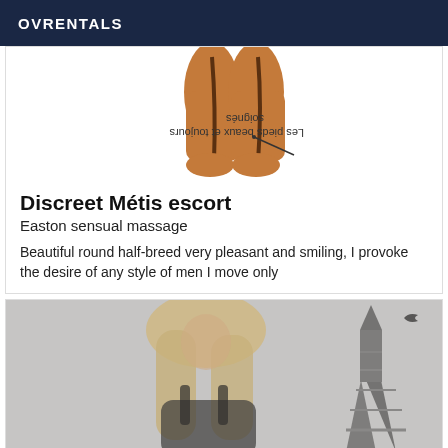OVRENTALS
[Figure (illustration): An illustration of legs/feet with French text 'Les pieds beaux et toujours soignés' shown upside down, with an arrow pointing to the ankle area. The legs appear with a tan/brown coloring.]
Discreet Métis escort
Easton sensual massage
Beautiful round half-breed very pleasant and smiling, I provoke the desire of any style of men I move only
[Figure (photo): A blurred photo of a blonde woman with long hair, wearing a dark top, with the Eiffel Tower visible in the background (black and white). A bird silhouette is visible in the upper right.]